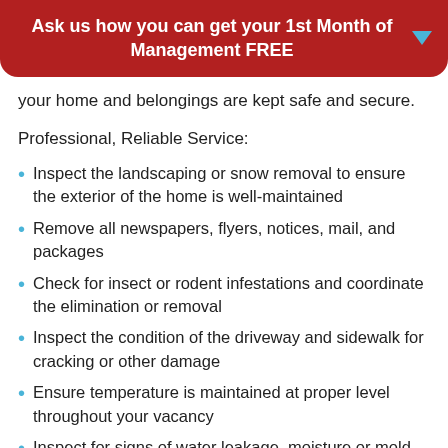Ask us how you can get your 1st Month of Management FREE
your home and belongings are kept safe and secure.
Professional, Reliable Service:
Inspect the landscaping or snow removal to ensure the exterior of the home is well-maintained
Remove all newspapers, flyers, notices, mail, and packages
Check for insect or rodent infestations and coordinate the elimination or removal
Inspect the condition of the driveway and sidewalk for cracking or other damage
Ensure temperature is maintained at proper level throughout your vacancy
Inspect for signs of water leakage, moisture or mold
Visually inspect the roof, gutters, siding, deck, fences,